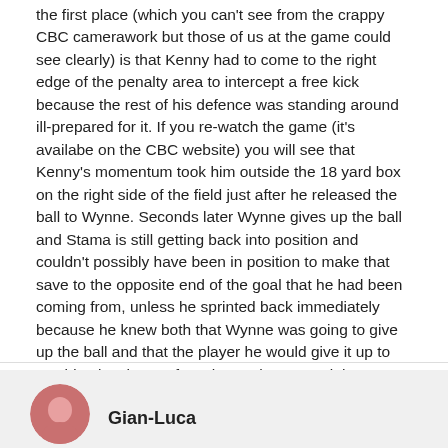the first place (which you can't see from the crappy CBC camerawork but those of us at the game could see clearly) is that Kenny had to come to the right edge of the penalty area to intercept a free kick because the rest of his defence was standing around ill-prepared for it. If you re-watch the game (it's availabe on the CBC website) you will see that Kenny's momentum took him outside the 18 yard box on the right side of the field just after he released the ball to Wynne. Seconds later Wynne gives up the ball and Stama is still getting back into position and couldn't possibly have been in position to make that save to the opposite end of the goal that he had been coming from, unless he sprinted back immediately because he knew both that Wynne was going to give up the ball and that the player he would give it up to would unleash a perfect shot to the upper right corner. Of course, to argue that would be, as I said, second guessing to the highest degree.
Not even Gian-Luigi Buffon would have been able to save that one.
Gian-Luca